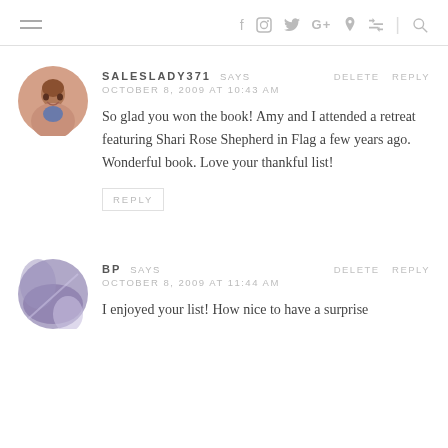navigation bar with hamburger menu and social icons: f, instagram, twitter, G+, pinterest, rss, search
[Figure (photo): Round avatar photo of a woman with short brown hair and a blue top, smiling]
SALESLADY371 SAYS
OCTOBER 8, 2009 AT 10:43 AM
So glad you won the book! Amy and I attended a retreat featuring Shari Rose Shepherd in Flag a few years ago. Wonderful book. Love your thankful list!
REPLY
[Figure (photo): Round avatar with purple/lavender abstract texture]
BP SAYS
OCTOBER 8, 2009 AT 11:44 AM
I enjoyed your list! How nice to have a surprise